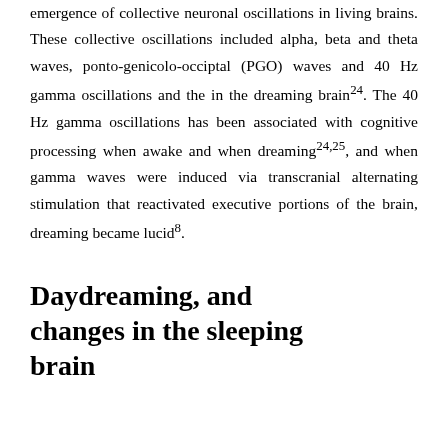emergence of collective neuronal oscillations in living brains. These collective oscillations included alpha, beta and theta waves, ponto-genicolo-occiptal (PGO) waves and 40 Hz gamma oscillations and the in the dreaming brain24. The 40 Hz gamma oscillations has been associated with cognitive processing when awake and when dreaming24,25, and when gamma waves were induced via transcranial alternating stimulation that reactivated executive portions of the brain, dreaming became lucid8.
Daydreaming, and changes in the sleeping brain